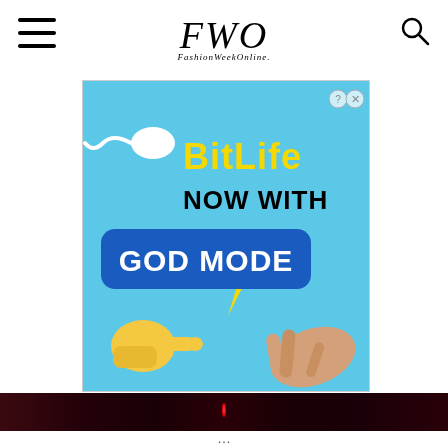FWO FashionWeekOnline.
[Figure (illustration): BitLife game advertisement banner. Light blue background with sperm cell graphic on the left, bold yellow 'BitLife' text, 'NOW WITH' text, 'GOD MODE' in blue rounded rectangle with yellow lightning bolt, cartoon yellow pointing hand emoji and illustrated human hand reaching toward each other (parody of Michelangelo's Creation of Adam). Top right has question mark and X close icons.]
[Figure (photo): Dark reddish-black horizontal strip, appears to be a dimly lit fashion runway or event scene with a faint red light in the center.]